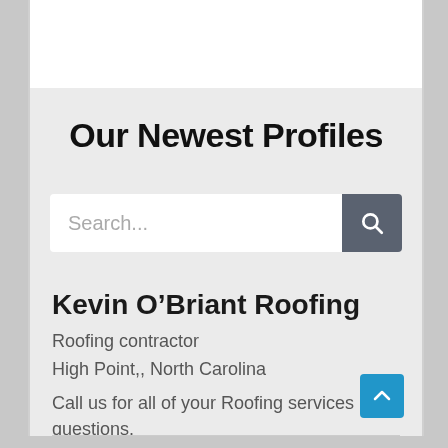Our Newest Profiles
[Figure (screenshot): Search bar with text placeholder 'Search...' and a dark grey search button with magnifying glass icon]
Kevin O’Briant Roofing
Roofing contractor
High Point,, North Carolina
Call us for all of your Roofing services or questions.